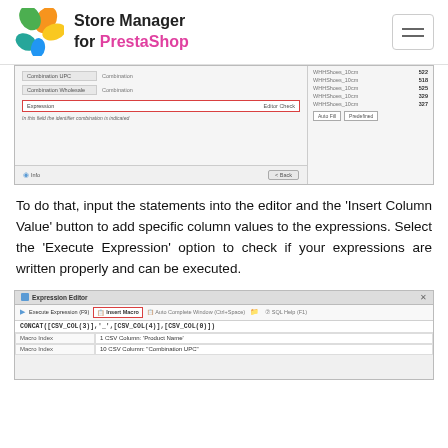[Figure (screenshot): Store Manager for PrestaShop header with logo and hamburger menu]
[Figure (screenshot): Store Manager import wizard showing Expression field highlighted in red, with combination rows on right panel]
To do that, input the statements into the editor and the 'Insert Column Value' button to add specific column values to the expressions. Select the 'Execute Expression' option to check if your expressions are written properly and can be executed.
[Figure (screenshot): Expression Editor window showing Insert Macro button highlighted in red, CONCAT([CSV_COL(3)],'_',[CSV_COL(4)],[CSV_COL(0)]) in code area, with Macro Index dropdown showing '1 CSV Column: Product Name' and '10 CSV Column: Combination UPC']